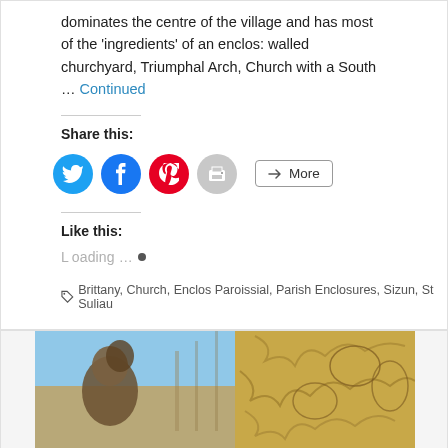dominates the centre of the village and has most of the 'ingredients' of an enclos: walled churchyard, Triumphal Arch, Church with a South … Continued
Share this:
[Figure (other): Social share buttons: Twitter (blue circle), Facebook (blue circle), Pinterest (red circle), Print (grey circle), More (outlined button)]
Like this:
Loading…
Brittany, Church, Enclos Paroissial, Parish Enclosures, Sizun, St Suliau
[Figure (photo): Stone carved architectural detail with blue sky, showing ornate carved stonework and a figure]